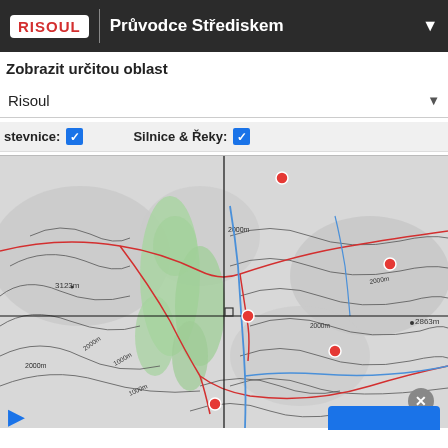Průvodce Střediskem
Zobrazit určitou oblast
Risoul
stevnice: ✓   Silnice & Řeky: ✓
[Figure (map): Topographic map of Risoul ski resort area showing elevation contours, green forested areas, red roads/lifts, blue rivers, black trails, and orange/red location markers. Crosshair lines visible. Elevation labels include 3123m, 2000m, 1000m, 2863m.]